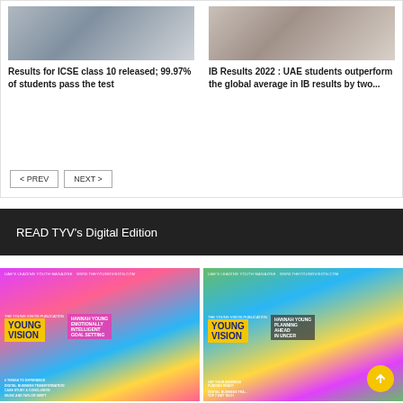[Figure (photo): Photo of student marking on paper with ruler]
Results for ICSE class 10 released; 99.97% of students pass the test
[Figure (photo): Photo of student holding up paper]
IB Results 2022 : UAE students outperform the global average in IB results by two...
< PREV   NEXT >
READ TYV's Digital Edition
[Figure (photo): Young Vision magazine cover - Emotionally Intelligent Goal Setting issue]
[Figure (photo): Young Vision magazine cover - Planning Ahead In Uncertain Times issue]